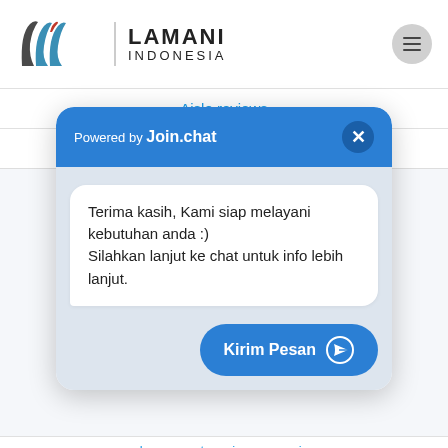[Figure (logo): Lamani Indonesia logo with stylized LW letters and vertical divider line]
Aisle reviews
aisle revoir
[Figure (screenshot): Join.chat widget popup with header 'Powered by Join.chat', close button, chat bubble saying 'Terima kasih, Kami siap melayani kebutuhan anda :) Silahkan lanjut ke chat untuk info lebih lanjut.', and 'Kirim Pesan' send button]
akron escort service companies